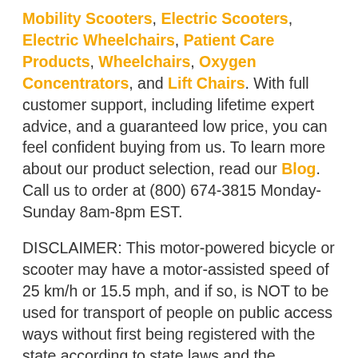Mobility Scooters, Electric Scooters, Electric Wheelchairs, Patient Care Products, Wheelchairs, Oxygen Concentrators, and Lift Chairs. With full customer support, including lifetime expert advice, and a guaranteed low price, you can feel confident buying from us. To learn more about our product selection, read our Blog. Call us to order at (800) 674-3815 Monday-Sunday 8am-8pm EST.
DISCLAIMER: This motor-powered bicycle or scooter may have a motor-assisted speed of 25 km/h or 15.5 mph, and if so, is NOT to be used for transport of people on public access ways without first being registered with the state according to state laws and the operator being legally licensed to drive on public access ways. We do not assume any liability for any usage of